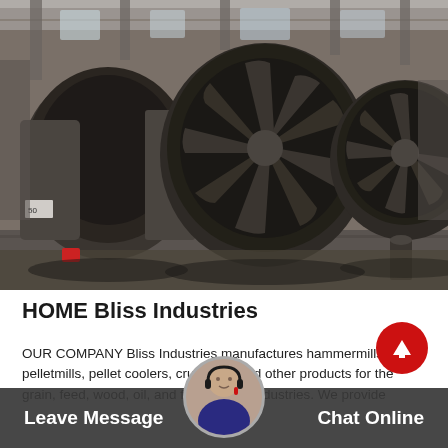[Figure (photo): Industrial manufacturing facility interior showing large metal cylindrical drum/rotor components with fan blades, stored on a warehouse floor under a steel roof structure.]
HOME Bliss Industries
OUR COMPANY Bliss Industries manufactures hammermills, pelletmills, pellet coolers, crumblers and other products for the grain, feed, wood, oil, and flour milling industries. We provide